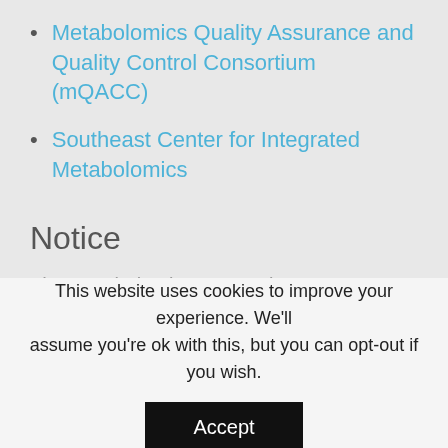Metabolomics Quality Assurance and Quality Control Consortium (mQACC)
Southeast Center for Integrated Metabolomics
Notice
The Metabolomics Consortium Coordinating Center is funded in part by the (M3C) (grant
This website uses cookies to improve your experience. We'll assume you're ok with this, but you can opt-out if you wish.